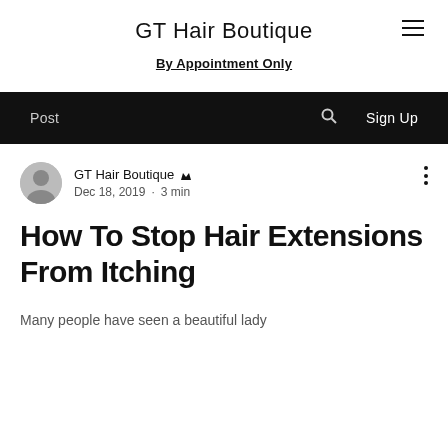GT Hair Boutique
By Appointment Only
Post  🔍  Sign Up
GT Hair Boutique Admin
Dec 18, 2019  •  3 min
How To Stop Hair Extensions From Itching
Many people have seen a beautiful lady